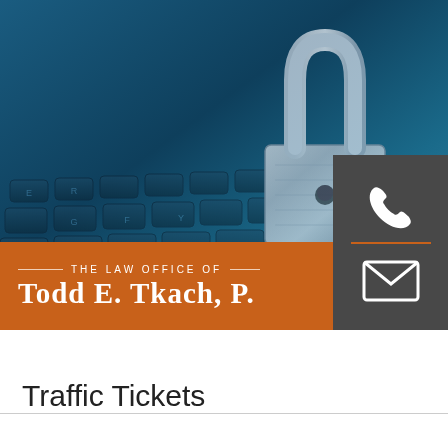[Figure (photo): Photo of a laptop keyboard with a metallic padlock resting on it, tinted in blue tones. Overlaid with an orange banner reading 'The Law Office of Todd E. Tkach, P.' and a dark gray box with phone and email icons.]
Traffic Tickets